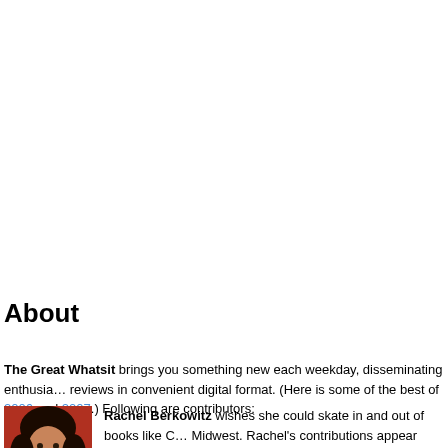About
The Great Whatsit brings you something new each weekday, disseminating enthusiastic reviews in convenient digital format. (Here is some of the best of 2006 and 2007.) Following are contributors:
[Figure (photo): Portrait photo of Rachel Berkowitz against a red background]
Rachel Berkowitz wishes she could skate in and out of books like Midwest. Rachel's contributions appear occasionally. She can be reached at greatwhatsit.com. Rachel's posts.